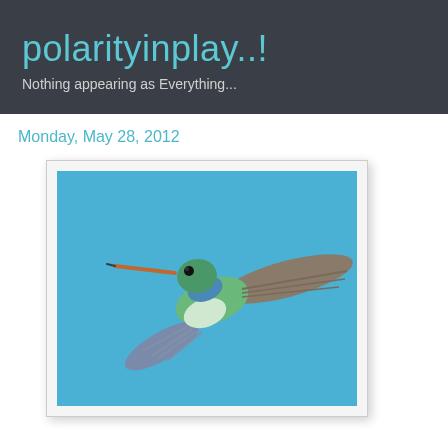polarityinplay..!
Nothing appearing as Everything...
Monday, May 28, 2012
[Figure (photo): A hummingbird with green and blue plumage, wings spread wide, hovering in mid-air against a bright blue sky background. The bird has an orange-tipped beak pointing left.]